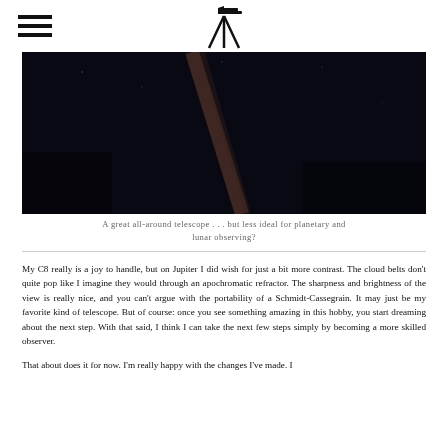[hamburger menu icon] [telescope icon]
[Figure (photo): Dark nighttime photograph showing a telescope or astronomical scene against a very dark sky background with a faint diagonal streak of light]
A great all-around telescope . . . but less ideal for planetary and lunar observing?
My C8 really is a joy to handle, but on Jupiter I did wish for just a bit more contrast. The cloud belts don't quite pop like I imagine they would through an apochromatic refractor. The sharpness and brightness of the view is really nice, and you can't argue with the portability of a Schmidt-Cassegrain. It may just be my favorite kind of telescope. But of course: once you see something amazing in this hobby, you start dreaming about the next step. With that said, I think I can take the next few steps simply by becoming a more skilled observer.
That about does it for now. I'm really happy with the changes I've made. I